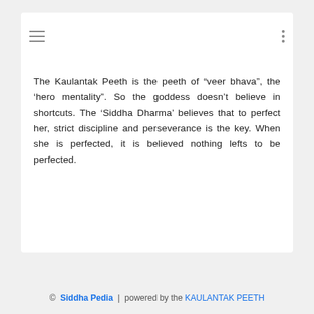≡  ⋮
The Kaulantak Peeth is the peeth of “veer bhava”, the ‘hero mentality”. So the goddess doesn’t believe in shortcuts. The ‘Siddha Dharma’ believes that to perfect her, strict discipline and perseverance is the key. When she is perfected, it is believed nothing lefts to be perfected.
© Siddha Pedia | powered by the KAULANTAK PEETH